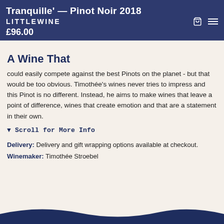Tranquille' — Pinot Noir 2018 LITTLEWINE £96.00
A Wine That
could easily compete against the best Pinots on the planet - but that would be too obvious. Timothée's wines never tries to impress and this Pinot is no different. Instead, he aims to make wines that leave a point of difference, wines that create emotion and that are a statement in their own.
▼ Scroll for More Info
Delivery: Delivery and gift wrapping options available at checkout.
Winemaker: Timothée Stroebel